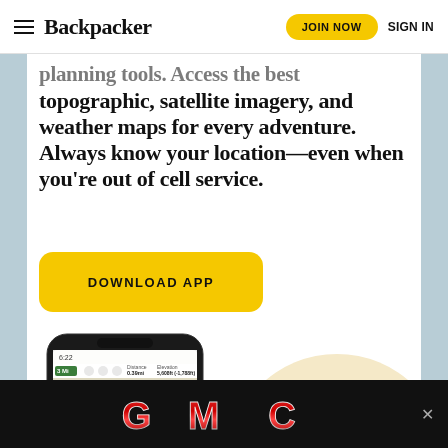Backpacker — JOIN NOW  SIGN IN
planning tools. Access the best topographic, satellite imagery, and weather maps for every adventure. Always know your location—even when you're out of cell service.
[Figure (screenshot): Yellow 'DOWNLOAD APP' button with rounded corners]
[Figure (screenshot): Smartphone showing a topographic trail map app with a route displayed over a nature map with a lake]
[Figure (logo): GMC logo in red metallic lettering on black background advertisement banner with close button]